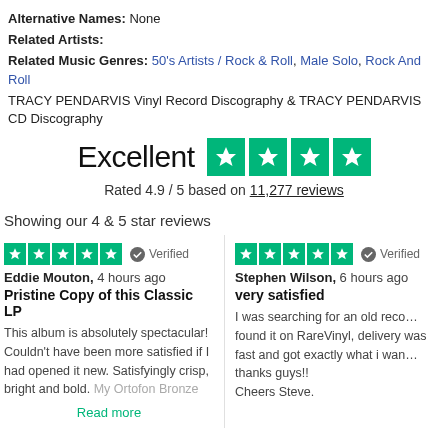Alternative Names: None
Related Artists:
Related Music Genres: 50's Artists / Rock & Roll, Male Solo, Rock And Roll
TRACY PENDARVIS Vinyl Record Discography & TRACY PENDARVIS CD Discography
[Figure (infographic): Trustpilot rating widget showing Excellent with 4.5 green stars, rated 4.9/5 based on 11,277 reviews]
Showing our 4 & 5 star reviews
Eddie Mouton, 4 hours ago — Pristine Copy of this Classic LP — This album is absolutely spectacular! Couldn't have been more satisfied if I had opened it new. Satisfyingly crisp, bright and bold. My Ortofon Bronze — Read more
Stephen Wilson, 6 hours ago — very satisfied — I was searching for an old record, found it on RareVinyl, delivery was fast and got exactly what i wanted, thanks guys!! Cheers Steve.